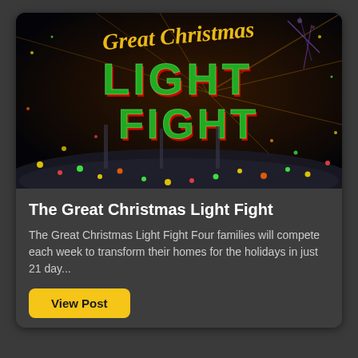[Figure (photo): Promotional image for 'The Great Christmas Light Fight' TV show with large green and red illuminated letters spelling LIGHT FIGHT on a dark background with colorful Christmas lights and confetti]
The Great Christmas Light Fight
The Great Christmas Light Fight Four families will compete each week to transform their homes for the holidays in just 21 day...
View Post